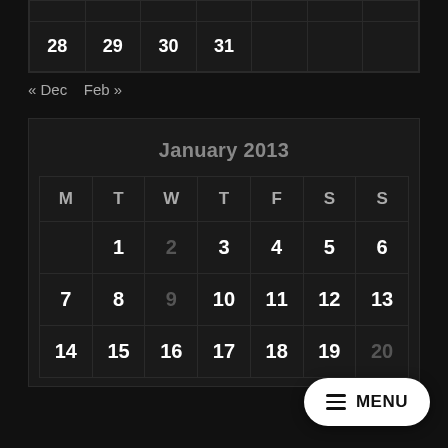|  |  |  |  |  |  |  |
| --- | --- | --- | --- | --- | --- | --- |
| 28 | 29 | 30 | 31 |  |  |  |
« Dec   Feb »
January 2013
| M | T | W | T | F | S | S |
| --- | --- | --- | --- | --- | --- | --- |
|  | 1 | 2 | 3 | 4 | 5 | 6 |
| 7 | 8 | 9 | 10 | 11 | 12 | 13 |
| 14 | 15 | 16 | 17 | 18 | 19 | 20 |